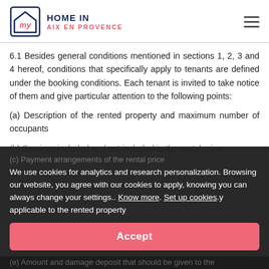Home In Aix en Provence
6.1  Besides general conditions mentioned in sections 1, 2, 3 and 4 hereof, conditions that specifically apply to tenants are defined under the booking conditions. Each tenant is invited to take notice of them and give particular attention to the following points:
(a)  Description of the rented property and maximum number of occupants
(b) Services included and not included in the rental price
We use cookies for analytics and research personalization. Browsing our website, you agree with our cookies to apply, knowing you can always change your settings.. Know more. Set up cookies.
(c) Payment arrangements of the rental price
(d) ...y applicable to the rented property